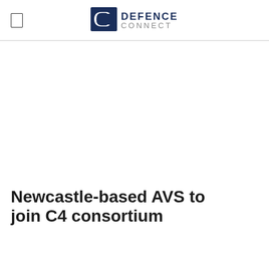DEFENCE CONNECT
Newcastle-based AVS to join C4 consortium